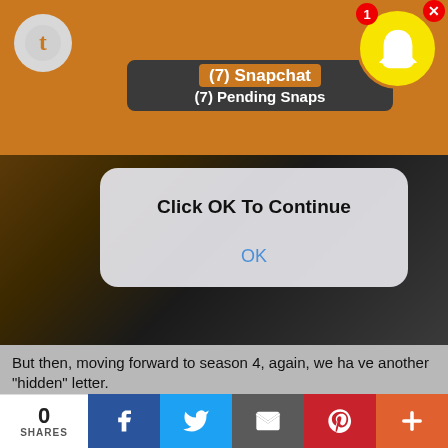[Figure (screenshot): Snapchat notification banner overlay showing '(7) Snapchat / (7) Pending Snaps' with Tumblr logo on left, Snapchat ghost icon on right with red badge showing 1, and X close button]
[Figure (screenshot): iOS-style dialog box over a dark scene background reading 'Click OK To Continue' with an 'OK' button in blue]
But then, moving forward to season 4, again, we have another "hidden" letter.
Jonathan lies to Nancy about this letter, he says he
0 SHARES | Facebook | Twitter | Email | Pinterest | +